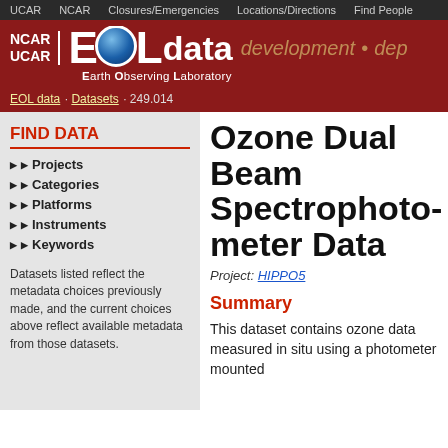UCAR  NCAR  Closures/Emergencies  Locations/Directions  Find People
[Figure (logo): NCAR UCAR EOL data Earth Observing Laboratory logo with globe, red background, development text]
EOL data · Datasets · 249.014
FIND DATA
Projects
Categories
Platforms
Instruments
Keywords
Datasets listed reflect the metadata choices previously made, and the current choices above reflect available metadata from those datasets.
Ozone Dual Beam Spectrophotometer Data
Project: HIPPO5
Summary
This dataset contains ozone data measured in situ using a photometer mounted